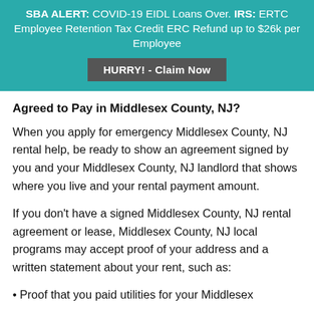SBA ALERT: COVID-19 EIDL Loans Over. IRS: ERTC Employee Retention Tax Credit ERC Refund up to $26k per Employee
HURRY! - Claim Now
Agreed to Pay in Middlesex County, NJ?
When you apply for emergency Middlesex County, NJ rental help, be ready to show an agreement signed by you and your Middlesex County, NJ landlord that shows where you live and your rental payment amount.
If you don't have a signed Middlesex County, NJ rental agreement or lease, Middlesex County, NJ local programs may accept proof of your address and a written statement about your rent, such as:
• Proof that you paid utilities for your Middlesex